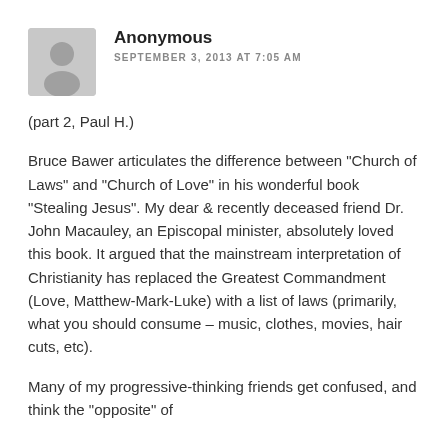Anonymous
SEPTEMBER 3, 2013 AT 7:05 AM
(part 2, Paul H.)
Bruce Bawer articulates the difference between "Church of Laws" and "Church of Love" in his wonderful book "Stealing Jesus". My dear & recently deceased friend Dr. John Macauley, an Episcopal minister, absolutely loved this book. It argued that the mainstream interpretation of Christianity has replaced the Greatest Commandment (Love, Matthew-Mark-Luke) with a list of laws (primarily, what you should consume – music, clothes, movies, hair cuts, etc).
Many of my progressive-thinking friends get confused, and think the "opposite" of